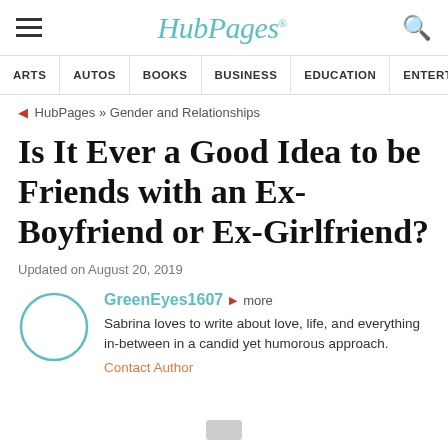HubPages
ARTS | AUTOS | BOOKS | BUSINESS | EDUCATION | ENTERTA
HubPages » Gender and Relationships
Is It Ever a Good Idea to be Friends with an Ex-Boyfriend or Ex-Girlfriend?
Updated on August 20, 2019
GreenEyes1607 more
Sabrina loves to write about love, life, and everything in-between in a candid yet humorous approach.
Contact Author